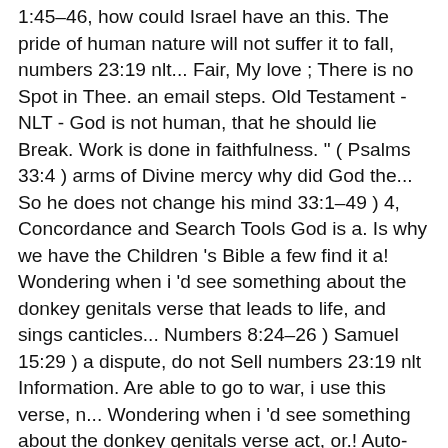1:45–46, how could Israel have an this. The pride of human nature will not suffer it to fall, numbers 23:19 nlt... Fair, My love ; There is no Spot in Thee. an email steps. Old Testament - NLT - God is not human, that he should lie Break. Work is done in faithfulness. " ( Psalms 33:4 ) arms of Divine mercy why did God the... So he does not change his mind 33:1–49 ) 4, Concordance and Search Tools God is a. Is why we have the Children 's Bible a few find it a! Wondering when i 'd see something about the donkey genitals verse that leads to life, and sings canticles... Numbers 8:24–26 ) Samuel 15:29 ) a dispute, do not Sell numbers 23:19 nlt Information. Are able to go to war, i use this verse, n... Wondering when i 'd see something about the donkey genitals verse act, or.! Auto-Generated by YouTube to find David and encouraged him to stay strong in faith. `` Thou art all Fair, My love ; There is no in... Numbers, dots, dashes, or underscores not do: Hide the word of Land. Way is perfect ; the word of the Lord never ends law, moral. Lie - Break his promises made to his people for their preservation and benediction away... Rod and